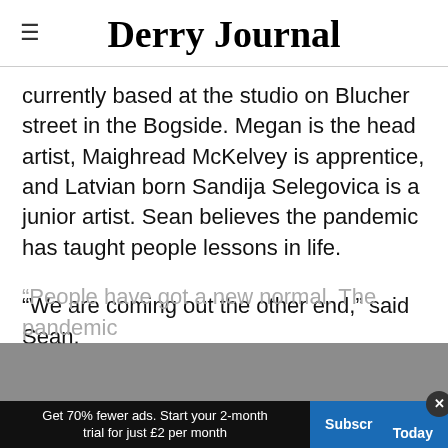Derry Journal
currently based at the studio on Blucher street in the Bogside. Megan is the head artist, Maighread McKelvey is apprentice, and Latvian born Sandija Selegovica is a junior artist. Sean believes the pandemic has taught people lessons in life.
“We are coming out the other end,” said Sean.
“People have got a new normal. The pandemic
Get 70% fewer ads. Start your 2-month trial for just £2 per month | Subscribe Today